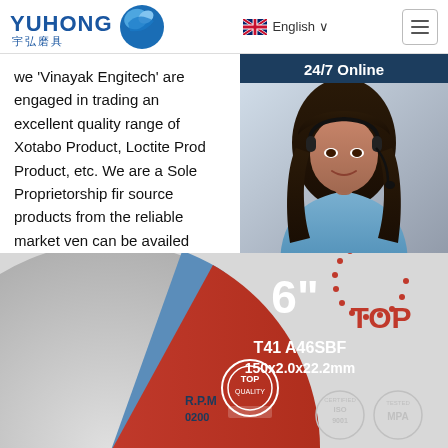YUHONG 宇弘磨具 | English | Menu
we 'Vinayak Engitech' are engaged in trading an excellent quality range of Xotabo Product, Loctite Product, Product, etc. We are a Sole Proprietorship firm source products from the reliable market vendors can be availed from us at reasonable prices. guidance of 'Mr. Nirav Joshi' (Owner), who h
[Figure (photo): Customer service representative / 24/7 Online chat widget with photo of woman wearing headset, dark navy background, 'Click here for free chat!' text, and orange QUOTATION button]
Get Price
[Figure (photo): Close-up of a Yuhong abrasive cutting disc labeled 6 inch, T41 A46SBF, 150x2.0x22.2mm, with TOP certification badge and ISO 9001 / MPA seals visible]